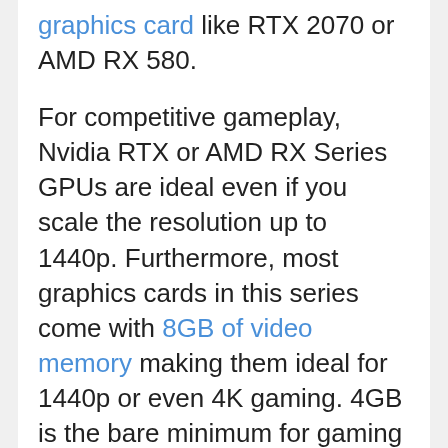graphics card like RTX 2070 or AMD RX 580.
For competitive gameplay, Nvidia RTX or AMD RX Series GPUs are ideal even if you scale the resolution up to 1440p. Furthermore, most graphics cards in this series come with 8GB of video memory making them ideal for 1440p or even 4K gaming. 4GB is the bare minimum for gaming right now, so going for a 6GB or 8GB VRAM will make your PC future-proof for a few more years.
Also, if you want to game at ultra-high resolution, don't forget to have a monitor that supports a 144Hz refresh rate.